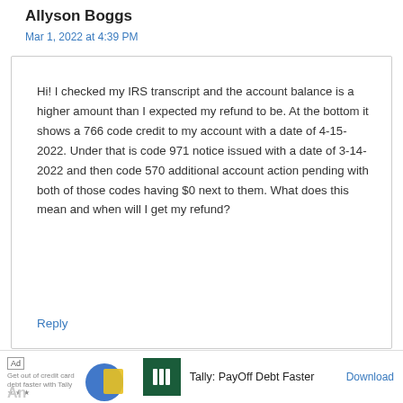Allyson Boggs
Mar 1, 2022 at 4:39 PM
Hi! I checked my IRS transcript and the account balance is a higher amount than I expected my refund to be. At the bottom it shows a 766 code credit to my account with a date of 4-15-2022. Under that is code 971 notice issued with a date of 3-14-2022 and then code 570 additional account action pending with both of those codes having $0 next to them. What does this mean and when will I get my refund?
Reply
[Figure (screenshot): Advertisement bar at bottom: Ad label, decorative graphic with blue circle and yellow shape, Tally logo (dark green with white bars icon), text 'Tally: PayOff Debt Faster', Download link]